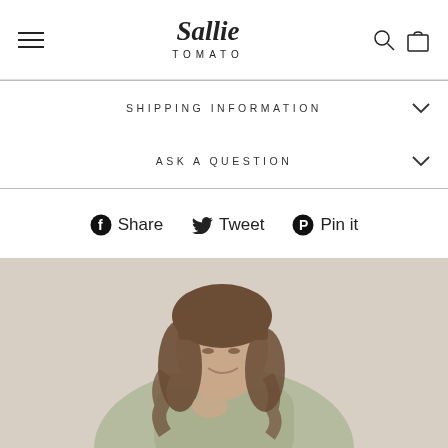Sallie Tomato — navigation header with hamburger menu, logo, search and cart icons
SHIPPING INFORMATION
ASK A QUESTION
Share  Tweet  Pin it
[Figure (photo): Woman with brown wavy hair and bangs, smiling downward, wearing a light olive/grey jacket, photographed against a soft beige background]